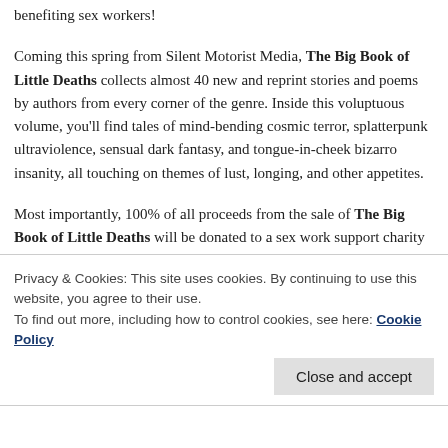benefiting sex workers!
Coming this spring from Silent Motorist Media, The Big Book of Little Deaths collects almost 40 new and reprint stories and poems by authors from every corner of the genre. Inside this voluptuous volume, you'll find tales of mind-bending cosmic terror, splatterpunk ultraviolence, sensual dark fantasy, and tongue-in-cheek bizarro insanity, all touching on themes of lust, longing, and other appetites.
Most importantly, 100% of all proceeds from the sale of The Big Book of Little Deaths will be donated to a sex work support charity to be determined. No one involved in this anthology, not any of the authors nor the designer,
Privacy & Cookies: This site uses cookies. By continuing to use this website, you agree to their use.
To find out more, including how to control cookies, see here: Cookie Policy
Close and accept